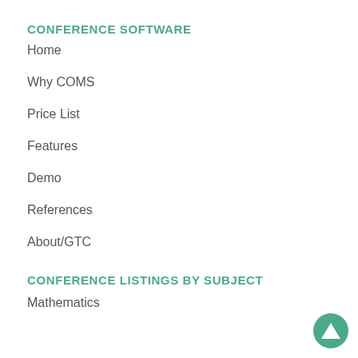CONFERENCE SOFTWARE
Home
Why COMS
Price List
Features
Demo
References
About/GTC
CONFERENCE LISTINGS BY SUBJECT
Mathematics